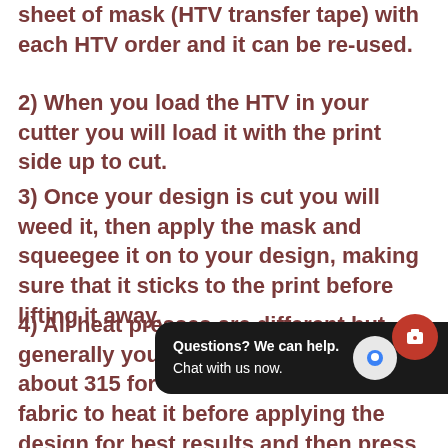sheet of mask (HTV transfer tape) with each HTV order and it can be re-used.
2) When you load the HTV in your cutter you will load it with the print side up to cut.
3) Once your design is cut you will weed it, then apply the mask and squeegee it on to your design, making sure that it sticks to the print before lifting it away.
4) All heat presses are different but generally you will press this HTV at about 315 for 15 seconds. Press the fabric to heat it before applying the design for best results and then press your de... After 15 seconds, che... as adhered to the fabric. If not, repeat press for another 3-